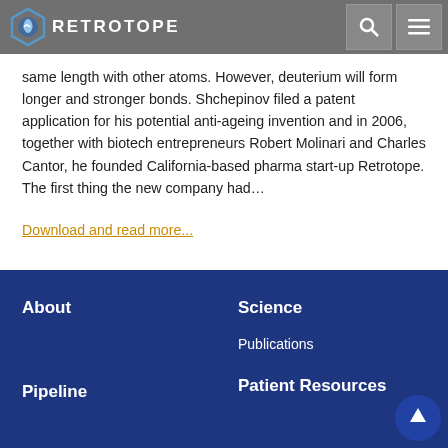RETROTOPE [logo + search icon + menu icon]
same length with other atoms. However, deuterium will form longer and stronger bonds. Shchepinov filed a patent application for his potential anti-ageing invention and in 2006, together with biotech entrepreneurs Robert Molinari and Charles Cantor, he founded California-based pharma start-up Retrotope. The first thing the new company had...
Download and read more...
About | Science | Publications | Pipeline | Patient Resources